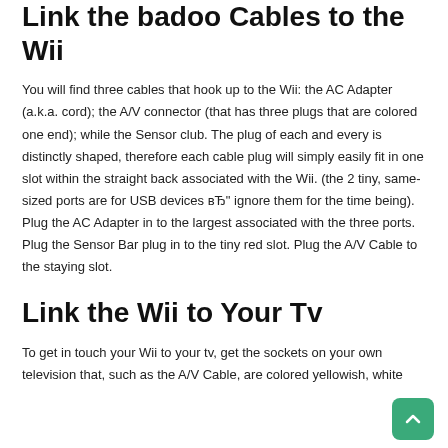because of the beveled side of the stand.
Link the badoo Cables to the Wii
You will find three cables that hook up to the Wii: the AC Adapter (a.k.a. cord); the A/V connector (that has three plugs that are colored one end); while the Sensor club. The plug of each and every is distinctly shaped, therefore each cable plug will simply easily fit in one slot within the straight back associated with the Wii. (the 2 tiny, same-sized ports are for USB devices вЂ" ignore them for the time being). Plug the AC Adapter in to the largest associated with the three ports. Plug the Sensor Bar plug in to the tiny red slot. Plug the A/V Cable to the staying slot.
Link the Wii to Your Tv
To get in touch your Wii to your tv, get the sockets on your own television that, such as the A/V Cable, are colored yellowish, white